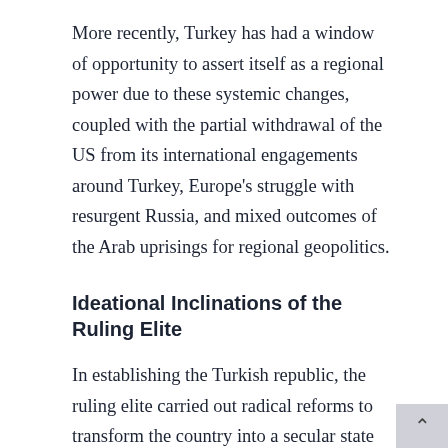More recently, Turkey has had a window of opportunity to assert itself as a regional power due to these systemic changes, coupled with the partial withdrawal of the US from its international engagements around Turkey, Europe's struggle with resurgent Russia, and mixed outcomes of the Arab uprisings for regional geopolitics.
Ideational Inclinations of the Ruling Elite
In establishing the Turkish republic, the ruling elite carried out radical reforms to transform the country into a secular state and provided the basis of Western orientation, which became a key part of Turkish foreign policy during the 20th century. The Turkish elite's focus on the West was accentuated in the 1990s and 2000s with a full membership bid to the EU and